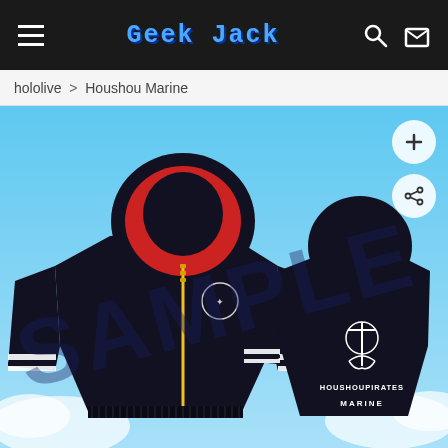Geek Jack — navigation bar with hamburger menu, logo, search and cart icons
hololive > Houshou Marine
[Figure (photo): Product sample image of a black Houshou Marine hoodie/zip-up jacket showing front and back views. The front view shows a red-lined hood, gold zipper, striped cuffs, and a small Houshou Pirates crest logo on the chest. The back view shows a large 'HOUSHOU PIRATES — MARINE' anchor emblem. The word 'SAMPLE' is watermarked across the image in large semi-transparent dark blue letters. Background is blue sky with clouds.]